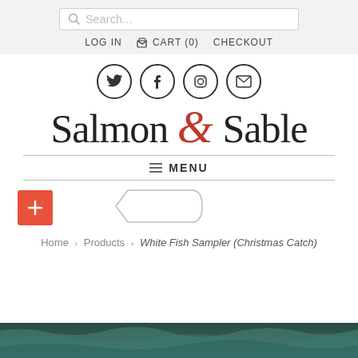Search... | LOG IN  CART (0)  CHECKOUT
[Figure (illustration): Four social media icons in circles: Twitter bird, Facebook f, Instagram camera, Email envelope]
Salmon & Sable
≡ MENU
[Figure (screenshot): Admin toolbar with orange plus button on left and a tag/label shape on the right]
Home › Products › White Fish Sampler (Christmas Catch)
[Figure (photo): Dark ocean water image at the bottom of the page]